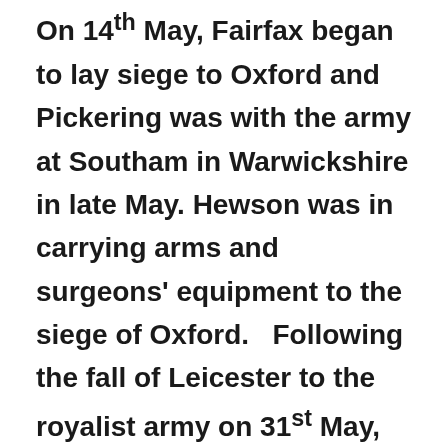On 14th May, Fairfax began to lay siege to Oxford and Pickering was with the army at Southam in Warwickshire in late May. Hewson was in carrying arms and surgeons' equipment to the siege of Oxford.   Following the fall of Leicester to the royalist army on 31st May, Cromwell was dispatched to